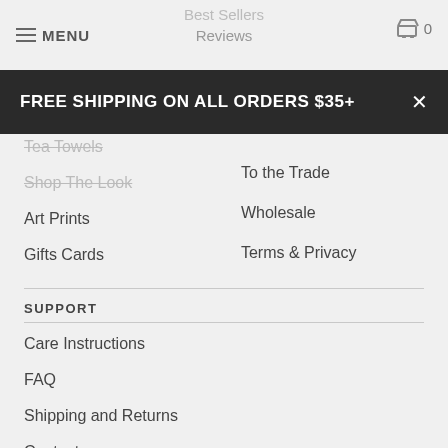MENU  Best Sellers  Reviews  0
FREE SHIPPING ON ALL ORDERS $35+
Tea Towels
Shop The Look
Art Prints
Gifts Cards
To the Trade
Wholesale
Terms & Privacy
SUPPORT
Care Instructions
FAQ
Shipping and Returns
Contact
FOLLOW US